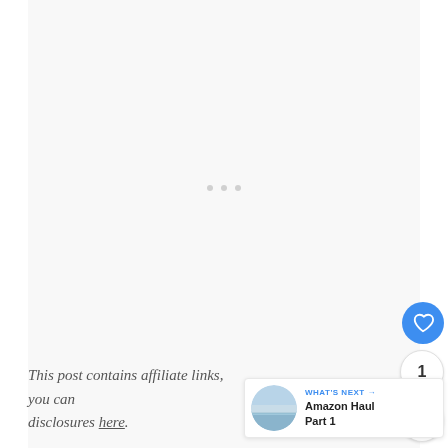[Figure (other): Large blank/loading content area with three small light gray loading dots in the center]
[Figure (other): Blue circular heart/like button, a count bubble showing '1', and a share button with circular arrows icon — social interaction UI widgets on the right side]
This post contains affiliate links, you can disclosures here.
[Figure (other): WHAT'S NEXT card with a thumbnail photo of a lake/horizon scene and text 'Amazon Haul Part 1']